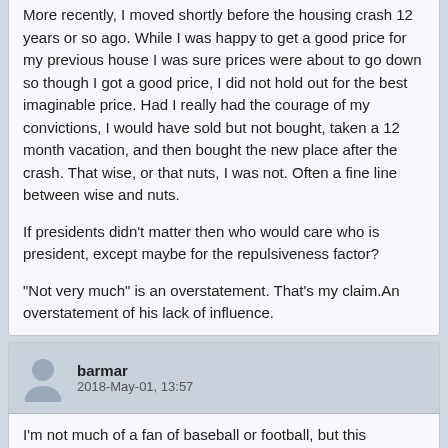More recently, I moved shortly before the housing crash 12 years or so ago. While I was happy to get a good price for my previous house I was sure prices were about to go down so though I got a good price, I did not hold out for the best imaginable price. Had I really had the courage of my convictions, I would have sold but not bought, taken a 12 month vacation, and then bought the new place after the crash. That wise, or that nuts, I was not. Often a fine line between wise and nuts.
If presidents didn't matter then who would care who is president, except maybe for the repulsiveness factor?
"Not very much" is an overstatement. That's my claim.An overstatement of his lack of influence.
barmar
2018-May-01, 13:57
I'm not much of a fan of baseball or football, but this "responsibility" debate reminds me of how wins and losses are often credited to the pitcher or quarterback, even though it's a team effort. Even a no-hitter or perfect game in baseball is not totally the pitcher's feat (no